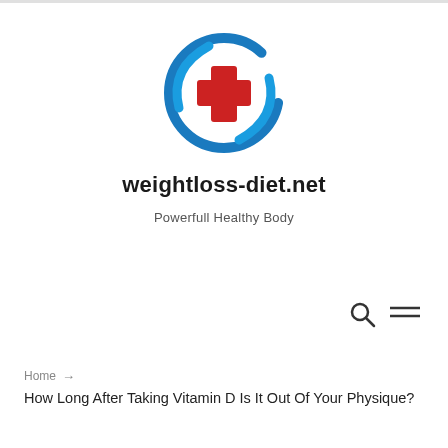[Figure (logo): Circular blue swoosh logo with a red cross/plus sign in the center, representing a health/medical website logo]
weightloss-diet.net
Powerfull Healthy Body
[Figure (other): Navigation icons: magnifying glass (search) and hamburger/equals menu icon]
Home → How Long After Taking Vitamin D Is It Out Of Your Physique?